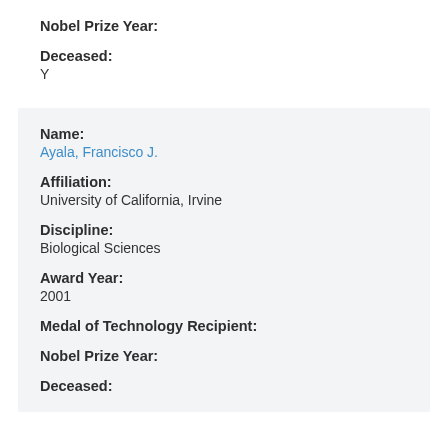Nobel Prize Year:
Deceased:
Y
Name:
Ayala, Francisco J.
Affiliation:
University of California, Irvine
Discipline:
Biological Sciences
Award Year:
2001
Medal of Technology Recipient:
Nobel Prize Year:
Deceased: